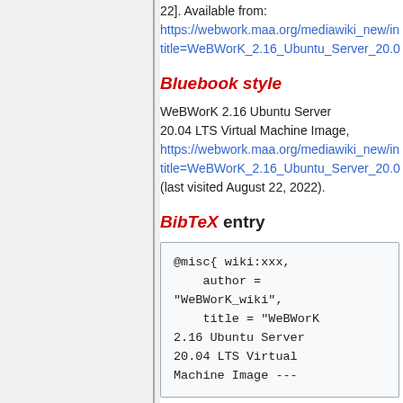22]. Available from: https://webwork.maa.org/mediawiki_new/index.php?title=WeBWorK_2.16_Ubuntu_Server_20.0...
Bluebook style
WeBWorK 2.16 Ubuntu Server 20.04 LTS Virtual Machine Image, https://webwork.maa.org/mediawiki_new/index.php?title=WeBWorK_2.16_Ubuntu_Server_20.0... (last visited August 22, 2022).
BibTeX entry
@misc{ wiki:xxx,
    author =
"WeBWorK_wiki",
    title = "WeBWorK 2.16 Ubuntu Server 20.04 LTS Virtual Machine Image ---